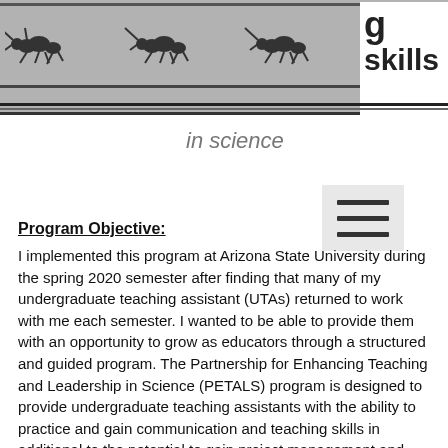g skills in science
Program Objective:
I implemented this program at Arizona State University during the spring 2020 semester after finding that many of my undergraduate teaching assistant (UTAs) returned to work with me each semester. I wanted to be able to provide them with an opportunity to grow as educators through a structured and guided program. The Partnership for Enhancing Teaching and Leadership in Science (PETALS) program is designed to provide undergraduate teaching assistants with the ability to practice and gain communication and teaching skills in additional to the potential to gain project management and supervisory skills. The program provides the opportunity for UTAs to advance via promotion based on merit reviews.